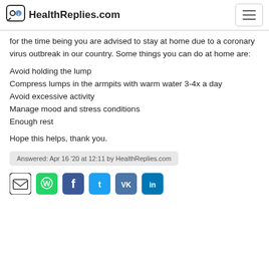HealthReplies.com
for the time being you are advised to stay at home due to a coronary virus outbreak in our country. Some things you can do at home are:
Avoid holding the lump
Compress lumps in the armpits with warm water 3-4x a day
Avoid excessive activity
Manage mood and stress conditions
Enough rest
Hope this helps, thank you.
Answered: Apr 16 '20 at 12:11 by HealthReplies.com